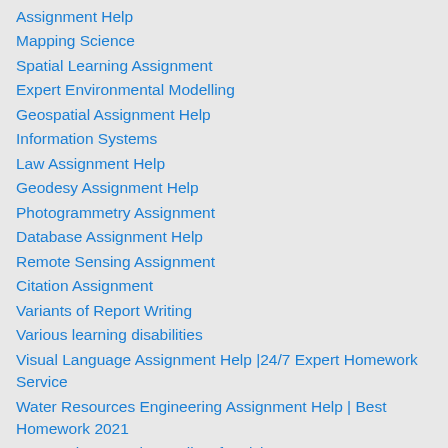Assignment Help
Mapping Science
Spatial Learning Assignment
Expert Environmental Modelling
Geospatial Assignment Help
Information Systems
Law Assignment Help
Geodesy Assignment Help
Photogrammetry Assignment
Database Assignment Help
Remote Sensing Assignment
Citation Assignment
Variants of Report Writing
Various learning disabilities
Visual Language Assignment Help |24/7 Expert Homework Service
Water Resources Engineering Assignment Help | Best Homework 2021
Ways to improve the quality of revision